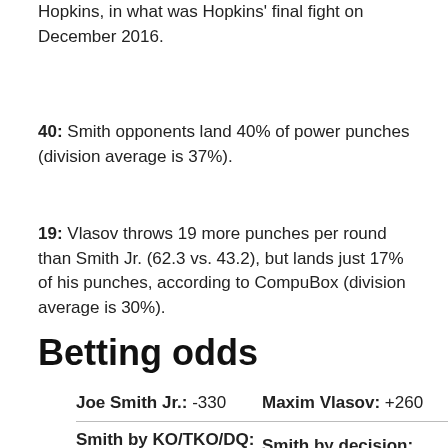…Smith is the only fighter to stop Hall of Famer Bernard Hopkins, in what was Hopkins' final fight on December 2016.
40: Smith opponents land 40% of power punches (division average is 37%).
19: Vlasov throws 19 more punches per round than Smith Jr. (62.3 vs. 43.2), but lands just 17% of his punches, according to CompuBox (division average is 30%).
Betting odds
|  |  |
| --- | --- |
| Joe Smith Jr.: -330 | Maxim Vlasov: +260 |
| Smith by KO/TKO/DQ:
+100 | Smith by decision: +220 |
| Vlasov by KO/TKO/DQ: |  |